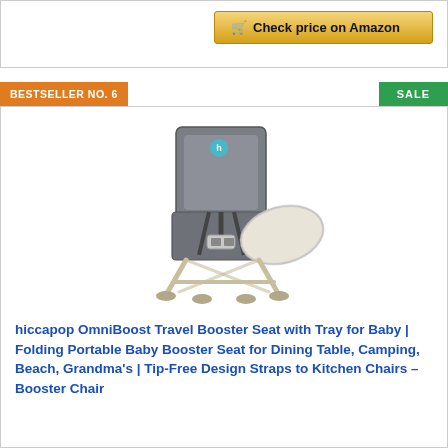[Figure (other): Check price on Amazon button with shopping cart icon, gold/amber gradient background]
BESTSELLER NO. 6
SALE
[Figure (photo): hiccapop OmniBoost Travel Booster Seat with tray - gray fabric seat with harness straps on metal folding legs, with attached white tray]
hiccapop OmniBoost Travel Booster Seat with Tray for Baby | Folding Portable Baby Booster Seat for Dining Table, Camping, Beach, Grandma's | Tip-Free Design Straps to Kitchen Chairs – Booster Chair